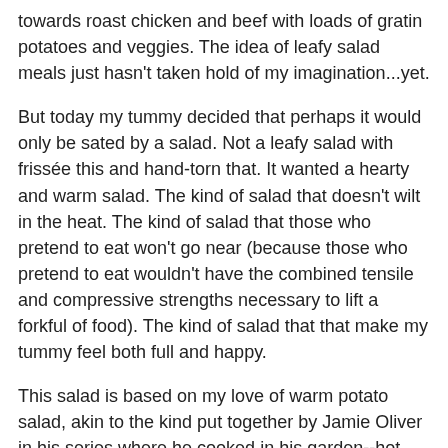towards roast chicken and beef with loads of gratin potatoes and veggies. The idea of leafy salad meals just hasn't taken hold of my imagination...yet.
But today my tummy decided that perhaps it would only be sated by a salad. Not a leafy salad with frissée this and hand-torn that. It wanted a hearty and warm salad. The kind of salad that doesn't wilt in the heat. The kind of salad that those who pretend to eat won't go near (because those who pretend to eat wouldn't have the combined tensile and compressive strengths necessary to lift a forkful of food). The kind of salad that that make my tummy feel both full and happy.
This salad is based on my love of warm potato salad, akin to the kind put together by Jamie Oliver in his series where he cooked in his garden--hot potatoes slurping up olive oil and lemon juice--along with a not-so-latent and constant desire to be near the Medeterranean Sea. It's relatively quick to put together and quite satsifying on its own or with a piece of bruschetta.